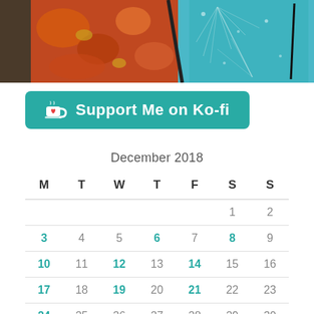[Figure (photo): Colorful abstract/nature photo showing autumn orange leaves and blue patterned leaf or surface, cropped at top of page]
[Figure (other): Ko-fi support button: teal rounded rectangle with coffee cup icon and text 'Support Me on Ko-fi']
| M | T | W | T | F | S | S |
| --- | --- | --- | --- | --- | --- | --- |
|  |  |  |  |  | 1 | 2 |
| 3 | 4 | 5 | 6 | 7 | 8 | 9 |
| 10 | 11 | 12 | 13 | 14 | 15 | 16 |
| 17 | 18 | 19 | 20 | 21 | 22 | 23 |
| 24 | 25 | 26 | 27 | 28 | 29 | 30 |